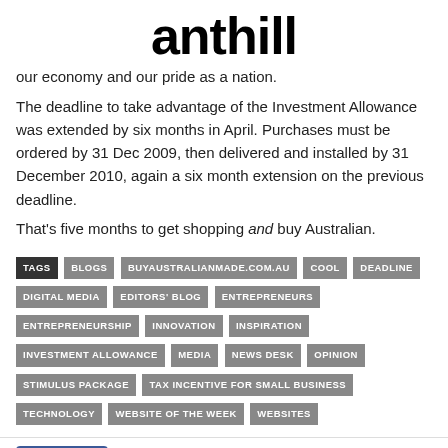anthill
our economy and our pride as a nation.
The deadline to take advantage of the Investment Allowance was extended by six months in April. Purchases must be ordered by 31 Dec 2009, then delivered and installed by 31 December 2010, again a six month extension on the previous deadline.
That's five months to get shopping and buy Australian.
TAGS: BLOGS | BUYAUSTRALIANMADE.COM.AU | COOL | DEADLINE | DIGITAL MEDIA | EDITORS' BLOG | ENTREPRENEURS | ENTREPRENEURSHIP | INNOVATION | INSPIRATION | INVESTMENT ALLOWANCE | MEDIA | NEWS DESK | OPINION | STIMULUS PACKAGE | TAX INCENTIVE FOR SMALL BUSINESS | TECHNOLOGY | WEBSITE OF THE WEEK | WEBSITES
[Figure (infographic): Social share buttons: Like 0 (Facebook blue), Facebook, Twitter, Google+, Pinterest, WhatsApp]